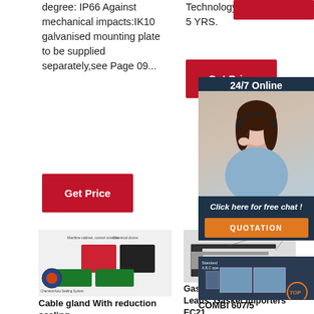degree: IP66 Against mechanical impacts:IK10 galvanised mounting plate to be supplied separately,see Page 09...
[Figure (other): Red 'Get Price' button on left column]
Technology Co., Ltd. 5 YRS.
[Figure (other): Red 'Get Price' button in middle column]
[Figure (other): 24/7 Online customer service widget with agent photo, 'Click here for free chat!' and QUOTATION button]
[Figure (engineering-diagram): Cable gland with reduction sealing system diagram showing machine cabinet, control screens, chemical drums, steel body feed, and chemical auto-sealing system]
Cable gland With reduction sealing
[Figure (engineering-diagram): Gasket cross-section diagram showing a curved pipe gasket shape]
Gasket Buyers, Buying Leads, Gasket Importers EC21...
[Figure (engineering-diagram): COMBI 607/5 machine diagram showing Standard A,B,C type equipment]
COMBI 607/5